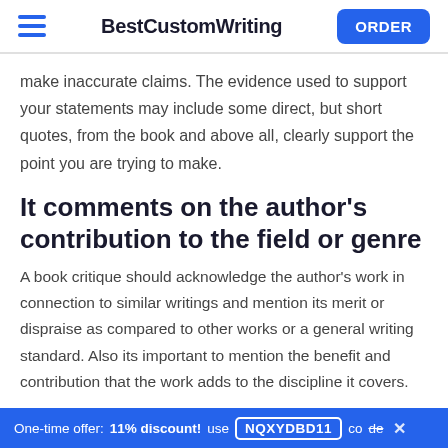BestCustomWriting ORDER
make inaccurate claims. The evidence used to support your statements may include some direct, but short quotes, from the book and above all, clearly support the point you are trying to make.
It comments on the author's contribution to the field or genre
A book critique should acknowledge the author's work in connection to similar writings and mention its merit or dispraise as compared to other works or a general writing standard. Also its important to mention the benefit and contribution that the work adds to the discipline it covers.
One-time offer: 11% discount! use NQXYDBD11 code